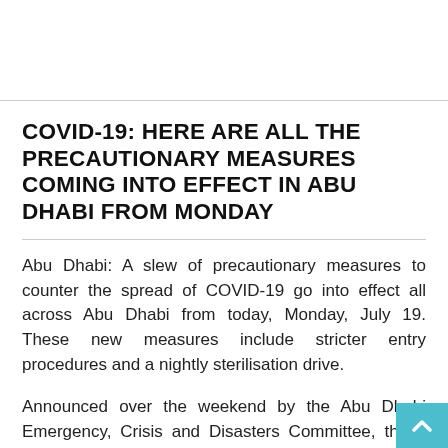COVID-19: HERE ARE ALL THE PRECAUTIONARY MEASURES COMING INTO EFFECT IN ABU DHABI FROM MONDAY
Abu Dhabi: A slew of precautionary measures to counter the spread of COVID-19 go into effect all across Abu Dhabi from today, Monday, July 19. These new measures include stricter entry procedures and a nightly sterilisation drive.
Announced over the weekend by the Abu Dhabi Emergency, Crisis and Disasters Committee, these measures are designed to limit the spread of the infection during the Eid holidays.